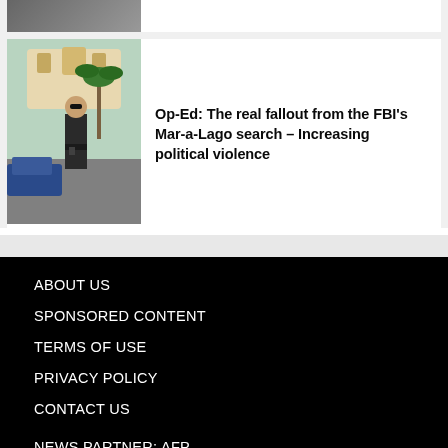[Figure (photo): Partial top of a news article card showing a cropped image]
[Figure (photo): Police officer walking in front of a building with palm trees, related to FBI Mar-a-Lago search article]
Op-Ed: The real fallout from the FBI's Mar-a-Lago search – Increasing political violence
ABOUT US
SPONSORED CONTENT
TERMS OF USE
PRIVACY POLICY
CONTACT US
NEWS PARTNER: AFP
NEWS PARTNER: DX JOURNAL
ALL PRESS RELEASES
FEATURED: ACCESSWIRE